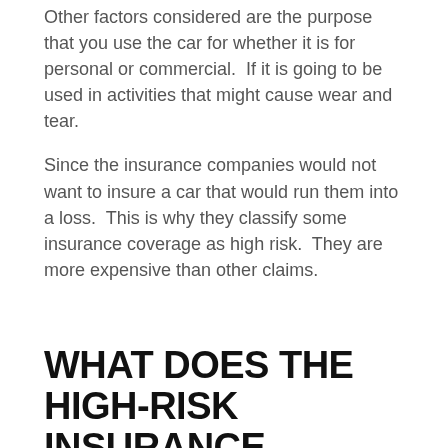Other factors considered are the purpose that you use the car for whether it is for personal or commercial.  If it is going to be used in activities that might cause wear and tear.
Since the insurance companies would not want to insure a car that would run them into a loss.  This is why they classify some insurance coverage as high risk.  They are more expensive than other claims.
WHAT DOES THE HIGH-RISK INSURANCE PACKAGE ENTAIL?
It is a more expensive insurance plan than the regular